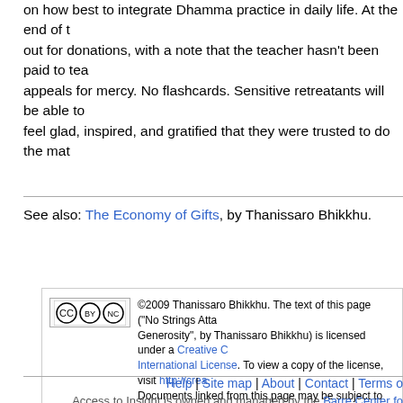on how best to integrate Dhamma practice in daily life. At the end of the retreat, a bowl is passed out for donations, with a note that the teacher hasn't been paid to teach. No emotional appeals for mercy. No flashcards. Sensitive retreatants will be able to feel glad, inspired, and gratified that they were trusted to do the math.
See also: The Economy of Gifts, by Thanissaro Bhikkhu.
©2009 Thanissaro Bhikkhu. The text of this page ("No Strings Attached: The Buddha's Culture of Generosity", by Thanissaro Bhikkhu) is licensed under a Creative Commons Attribution-NonCommercial 4.0 International License. To view a copy of the license, visit http://creativecommons.org/... Documents linked from this page may be subject to other restrictions. Transcribed from a file provided for Access to Insight on 5 June 2010.
How to cite this document (a suggested style): "No Strings Attached: The Buddha's Culture of Generosity", by Thanissaro Bhikkhu. Access to Insight (BCBS Edition), 5 June 2010, http://www.accesstoinsight.org/lib/authors/thanissaro/nostringsattached.html .
Help | Site map | About | Contact | Terms o
Access to Insight is owned and managed by the Barre Center fo